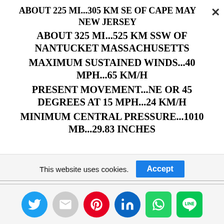ABOUT 225 MI...305 KM SE OF CAPE MAY NEW JERSEY
ABOUT 325 MI...525 KM SSW OF NANTUCKET MASSACHUSETTS
MAXIMUM SUSTAINED WINDS...40 MPH...65 KM/H
PRESENT MOVEMENT...NE OR 45 DEGREES AT 15 MPH...24 KM/H
MINIMUM CENTRAL PRESSURE...1010 MB...29.83 INCHES
This website uses cookies.
Accept